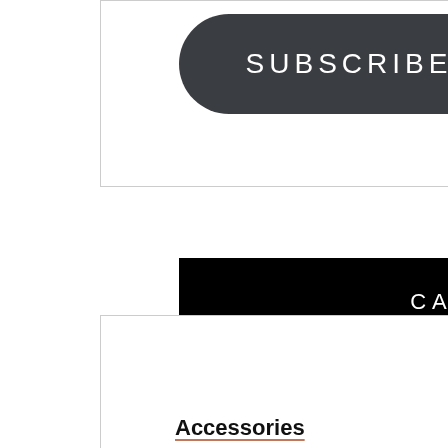[Figure (other): Subscribe button — dark rounded pill shape with white text reading SUBSCRIBE]
CATEGORIES
Accessories
Bike fit
Bikes
Blogging
Books
clubs
Cold weather